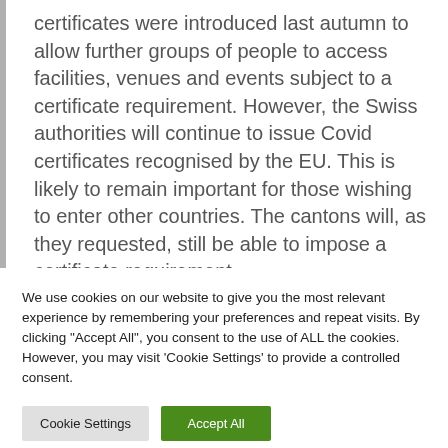certificates were introduced last autumn to allow further groups of people to access facilities, venues and events subject to a certificate requirement. However, the Swiss authorities will continue to issue Covid certificates recognised by the EU. This is likely to remain important for those wishing to enter other countries. The cantons will, as they requested, still be able to impose a certificate requirement.
We use cookies on our website to give you the most relevant experience by remembering your preferences and repeat visits. By clicking "Accept All", you consent to the use of ALL the cookies. However, you may visit 'Cookie Settings' to provide a controlled consent.